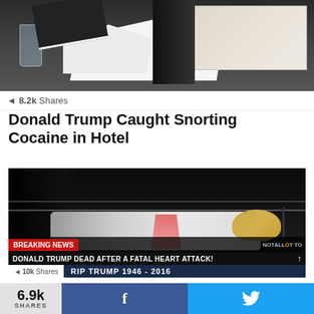[Figure (photo): Photo showing a table with a white substance/pile on it, a glass, and people in suits in background. Appears to be a doctored or staged image.]
8.2k Shares
Donald Trump Caught Snorting Cocaine in Hotel
[Figure (screenshot): News broadcast screenshot showing a person lying on a wrestling ring floor. Breaking news banner reads 'DONALD TRUMP DEAD AFTER A FATAL HEART ATTACK!' with 'NOT ALLOWED' watermark and 'RIP TRUMP 1946 - 2016' text.]
10k Shares   RIP TRUMP 1946 - 2016
6.9k SHARES   f   (Twitter bird icon)